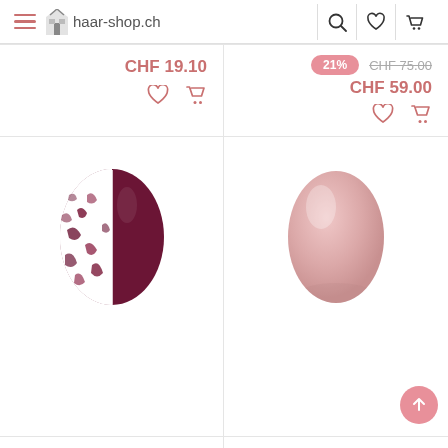haar-shop.ch
CHF 19.10
21% CHF 75.00 CHF 59.00
[Figure (photo): Nail gel polish swatch showing half white with dark burgundy flakes pattern and half solid dark burgundy/wine color — Miss Sophie Polar Ice]
MISS SOPHIE
Polar Ice
[Figure (photo): Nail gel polish swatch showing a smooth solid light pink/blush egg-shaped nail — Miss Sophie Hazel Brown]
MISS SOPHIE
Hazel Brown